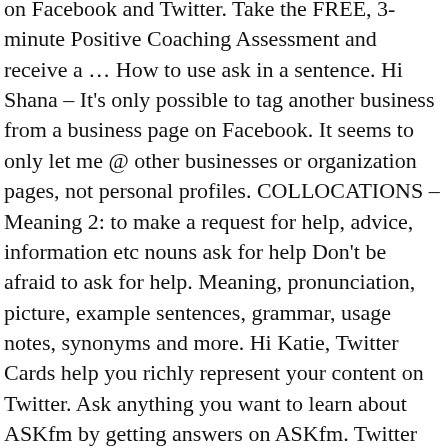on Facebook and Twitter. Take the FREE, 3-minute Positive Coaching Assessment and receive a … How to use ask in a sentence. Hi Shana – It's only possible to tag another business from a business page on Facebook. It seems to only let me @ other businesses or organization pages, not personal profiles. COLLOCATIONS – Meaning 2: to make a request for help, advice, information etc nouns ask for help Don't be afraid to ask for help. Meaning, pronunciation, picture, example sentences, grammar, usage notes, synonyms and more. Hi Katie, Twitter Cards help you richly represent your content on Twitter. Ask anything you want to learn about ASKfm by getting answers on ASKfm. Twitter came about out as a result of both a perceived need and timing. Become an advertiser. · Social Media. The "#" symbol is called a "hashtag."